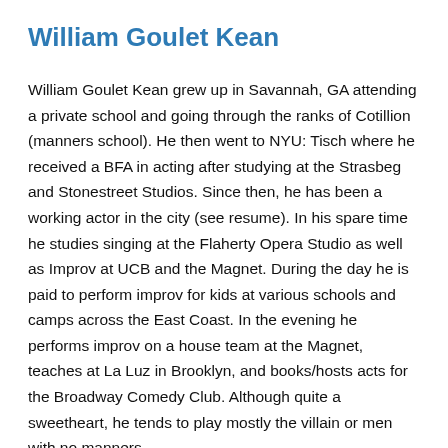William Goulet Kean
William Goulet Kean grew up in Savannah, GA attending a private school and going through the ranks of Cotillion (manners school). He then went to NYU: Tisch where he received a BFA in acting after studying at the Strasbeg and Stonestreet Studios. Since then, he has been a working actor in the city (see resume). In his spare time he studies singing at the Flaherty Opera Studio as well as Improv at UCB and the Magnet. During the day he is paid to perform improv for kids at various schools and camps across the East Coast. In the evening he performs improv on a house team at the Magnet, teaches at La Luz in Brooklyn, and books/hosts acts for the Broadway Comedy Club. Although quite a sweetheart, he tends to play mostly the villain or men with no manners.